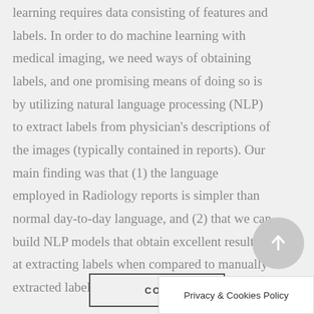learning requires data consisting of features and labels. In order to do machine learning with medical imaging, we need ways of obtaining labels, and one promising means of doing so is by utilizing natural language processing (NLP) to extract labels from physician's descriptions of the images (typically contained in reports). Our main finding was that (1) the language employed in Radiology reports is simpler than normal day-to-day language, and (2) that we can build NLP models that obtain excellent results at extracting labels when compared to manually extracted labels from physicians. (more...)
CON
Privacy & Cookies Policy